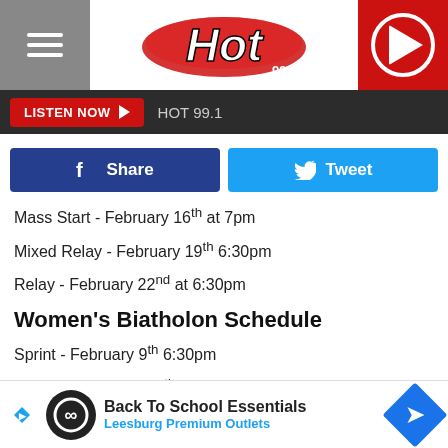HOT 99.1 FM
[Figure (screenshot): Listen Now button bar with HOT 99.1 text]
[Figure (screenshot): Facebook Share and Twitter Tweet social buttons]
Mass Start - February 16th at 7pm
Mixed Relay - February 19th 6:30pm
Relay - February 22nd at 6:30pm
Women's Biatholon Schedule
Sprint - February 9th 6:30pm
Pursuit - February 11th 7:00pm
Individual - February 14th 6pm
Mass St... February 17th 7...
Mixed ...
[Figure (screenshot): Back To School Essentials - Leesburg Premium Outlets advertisement banner]